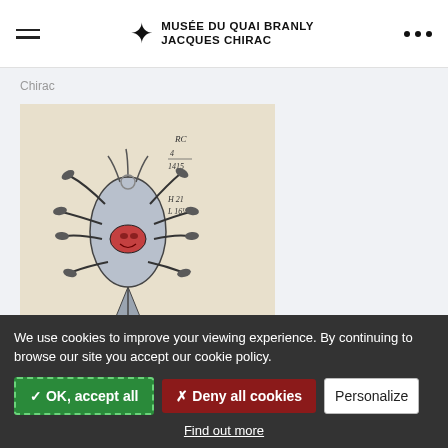Musée du Quai Branly Jacques Chirac
Chirac
[Figure (illustration): Sketch/drawing of a stylized creature (possibly an artifact or indigenous art piece) resembling a toad or turtle shape with limbs, a red oval center, and handwritten notes in the margins. Notes include 'RC', '4/1415', 'H 21 L 16½'. Cursive text at bottom reads partial description in English/French about the Yukon River area.]
We use cookies to improve your viewing experience. By continuing to browse our site you accept our cookie policy.
✓ OK, accept all
✗ Deny all cookies
Personalize
Find out more